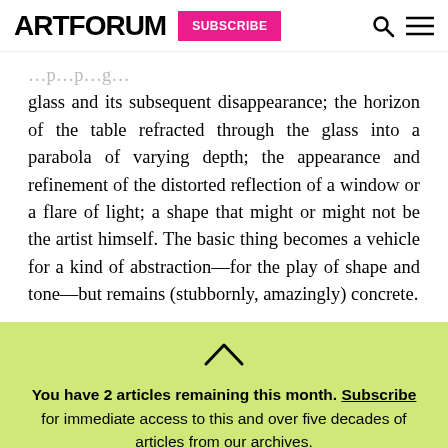ARTFORUM  SUBSCRIBE
glass and its subsequent disappearance; the horizon of the table refracted through the glass into a parabola of varying depth; the appearance and refinement of the distorted reflection of a window or a flare of light; a shape that might or might not be the artist himself. The basic thing becomes a vehicle for a kind of abstraction—for the play of shape and tone—but remains (stubbornly, amazingly) concrete.
You have 2 articles remaining this month. Subscribe for immediate access to this and over five decades of articles from our archives.